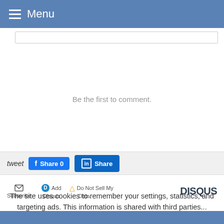Menu
Be the first to comment.
tweet  Share 0  Share
Subscribe  Add Disqus  Do Not Sell My Data  DISQUS
The site uses cookies to remember your settings, statistics, and targeting ads. This information is shared with third parties...  Ok  Read more